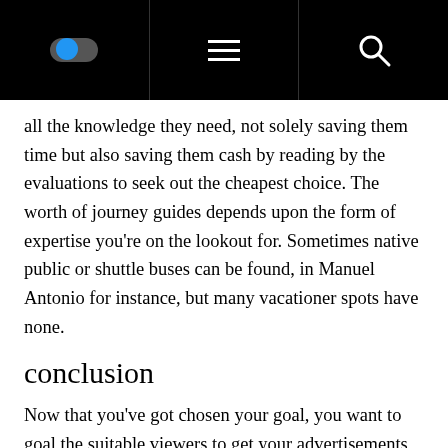[navigation bar with toggle, hamburger menu, and search icon]
all the knowledge they need, not solely saving them time but also saving them cash by reading by the evaluations to seek out the cheapest choice. The worth of journey guides depends upon the form of expertise you're on the lookout for. Sometimes native public or shuttle buses can be found, in Manuel Antonio for instance, but many vacationer spots have none.
conclusion
Now that you've got chosen your goal, you want to goal the suitable viewers to get your advertisements in front of the right individuals. BE AWARE: This tour isÂ a supplement toÂ the Information to Artwork and